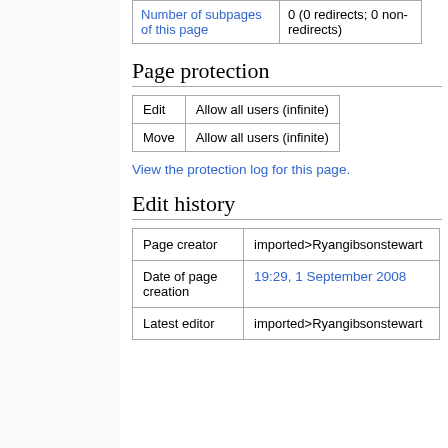|  |  |
| --- | --- |
| Number of subpages of this page | 0 (0 redirects; 0 non-redirects) |
Page protection
| Edit | Allow all users (infinite) |
| --- | --- |
| Move | Allow all users (infinite) |
View the protection log for this page.
Edit history
| Page creator | imported>Ryangibsonstewart |
| Date of page creation | 19:29, 1 September 2008 |
| Latest editor | imported>Ryangibsonstewart |